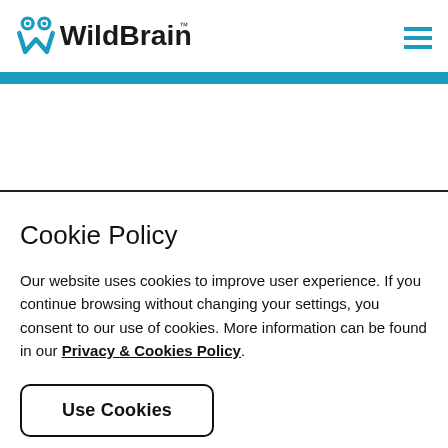WildBrain
Cookie Policy
Our website uses cookies to improve user experience. If you continue browsing without changing your settings, you consent to our use of cookies. More information can be found in our Privacy & Cookies Policy.
Use Cookies